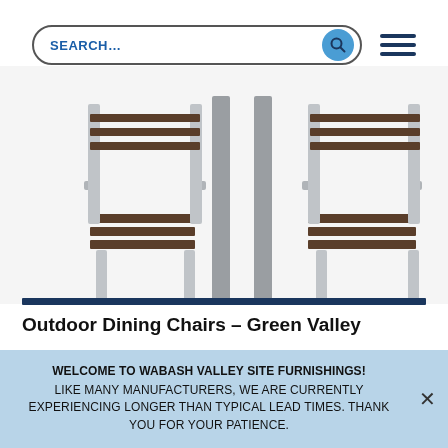[Figure (screenshot): Search bar with rounded border containing SEARCH... text and blue circular search icon button, plus hamburger menu icon on the right]
[Figure (photo): Outdoor dining chairs with silver/gray metal frames and dark wood slat seats, shown around a matching metal table on white background]
Outdoor Dining Chairs – Green Valley
WELCOME TO WABASH VALLEY SITE FURNISHINGS! LIKE MANY MANUFACTURERS, WE ARE CURRENTLY EXPERIENCING LONGER THAN TYPICAL LEAD TIMES. THANK YOU FOR YOUR PATIENCE.